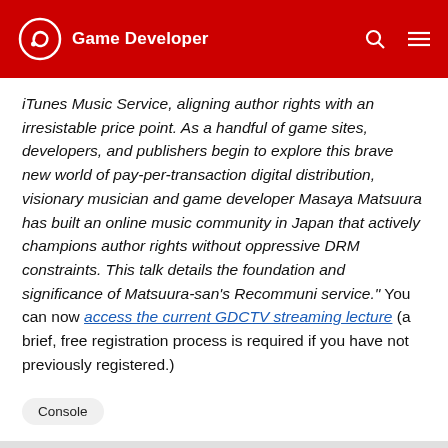Game Developer
iTunes Music Service, aligning author rights with an irresistable price point. As a handful of game sites, developers, and publishers begin to explore this brave new world of pay-per-transaction digital distribution, visionary musician and game developer Masaya Matsuura has built an online music community in Japan that actively champions author rights without oppressive DRM constraints. This talk details the foundation and significance of Matsuura-san's Recommuni service." You can now access the current GDCTV streaming lecture (a brief, free registration process is required if you have not previously registered.)
Console